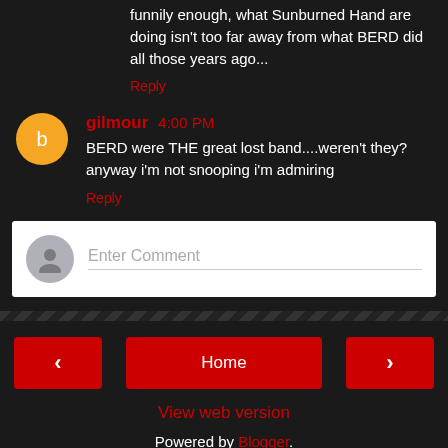funnily enough, what Sunburned Hand are doing isn't too far away from what BERD did all those years ago...
Reply
gilmour 4:00 PM
BERD were THE great lost band....weren't they? anyway i'm not snooping i'm admiring
Reply
Enter Comment
Home
View web version
Powered by Blogger.